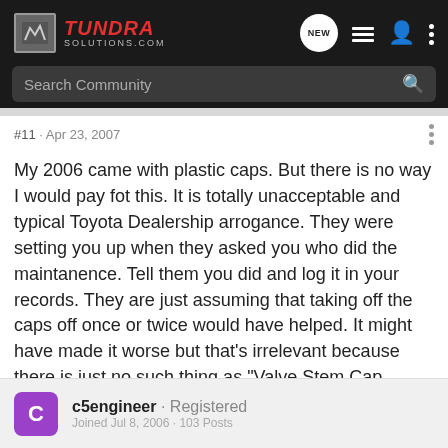TUNDRA SOLUTIONS.COM | Search Community
#11 · Apr 23, 2007
My 2006 came with plastic caps. But there is no way I would pay fot this. It is totally unacceptable and typical Toyota Dealership arrogance. They were setting you up when they asked you who did the maintanence. Tell them you did and log it in your records. They are just assuming that taking off the caps off once or twice would have helped. It might have made it worse but that's irrelevant because there is just no such thing as "Valve Stem Cap Maintanence".
c5engineer · Registered